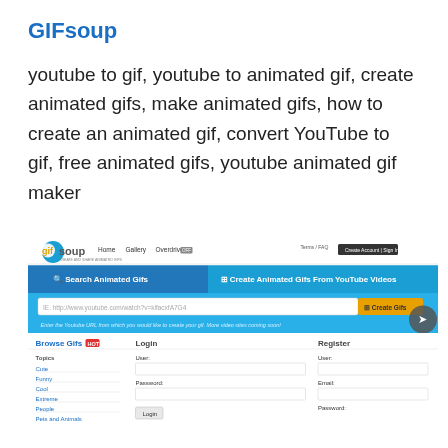GIFsoup
youtube to gif, youtube to animated gif, create animated gifs, make animated gifs, how to create an animated gif, convert YouTube to gif, free animated gifs, youtube animated gif maker
[Figure (screenshot): Screenshot of GIFsoup website showing the logo, navigation (Home, Gallery, Overdrive), a search/create interface for animated GIFs from YouTube videos, browse gifs section with topics (Cute, Funny, Cool, Extreme, People, Pets and Animals), login form, and register form.]